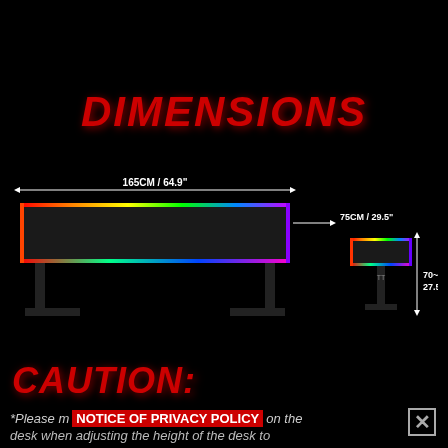DIMENSIONS
[Figure (engineering-diagram): Gaming desk dimensions diagram showing front view and side view. Front view: width 165CM / 64.9 inches, depth 75CM / 29.5 inches, with RGB lighting along edges. Side view showing height range 70~100CM / 27.5~43.3 inches adjustable.]
CAUTION:
NOTICE OF PRIVACY POLICY
*Please move away all items on the desk when adjusting the height of the desk to